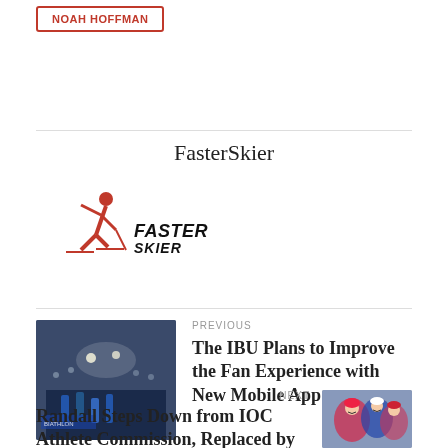NOAH HOFFMAN
FasterSkier
[Figure (logo): FasterSkier logo — red skier figure with FasterSkier text in bold italic]
PREVIOUS
[Figure (photo): Crowd at a biathlon/cross-country skiing event, athletes and spectators visible]
The IBU Plans to Improve the Fan Experience with New Mobile App
NEXT
[Figure (photo): Athletes/skiers, women in colorful ski attire]
Randall Steps Down from IOC Athlete Commission, Replaced by Norway's